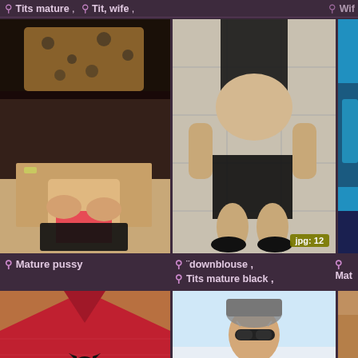Tits mature , Tit, wife ,
Wif...
[Figure (photo): Woman in leopard print lingerie]
[Figure (photo): Person crouching on tiled floor]
[Figure (photo): Partially visible figure in blue/teal]
Mature pussy
¨downblouse ,
Tits mature black ,
Mat...
[Figure (photo): Red lingerie close-up]
[Figure (photo): Woman with sunglasses outdoors]
[Figure (photo): Partially visible figure]